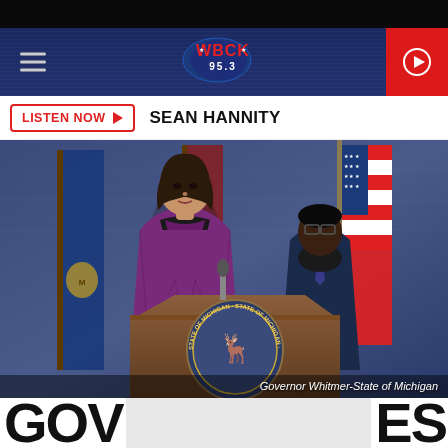[Figure (screenshot): WBCK 95.3 radio station website screenshot showing navigation bar with hamburger menu, WBCK logo, and red play button]
LISTEN NOW ▶  SEAN HANNITY
[Figure (photo): Governor Whitmer standing at a State of Michigan podium in a purple jacket, with a man in a dark suit and black mask standing behind her, American flags and Michigan state flag in the background. Caption reads: Governor Whitmer-State of Michigan]
Governor Whitmer-State of Michigan
GOV...ES